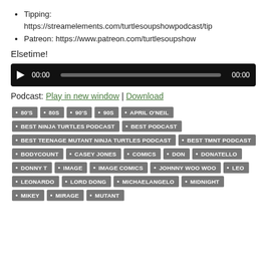Tipping: https://streamelements.com/turtlesoupshowpodcast/tip
Patreon: https://www.patreon.com/turtlesoupshow
Elsetime!
[Figure (other): Audio player with play button, time display 00:00, progress bar, and end time 00:00]
Podcast: Play in new window | Download
Tags: 80'S, 80S, 90'S, 90S, APRIL O'NEIL, BEST NINJA TURTLES PODCAST, BEST PODCAST, BEST TEENAGE MUTANT NINJA TURTLES PODCAST, BEST TMNT PODCAST, BODYCOUNT, CASEY JONES, COMICS, DON, DONATELLO, DONNY T, IMAGE, IMAGE COMICS, JOHNNY WOO WOO, LEO, LEONARDO, LORD DONG, MICHAELANGELO, MIDNIGHT, MIKEY, MIRAGE, MUTANT